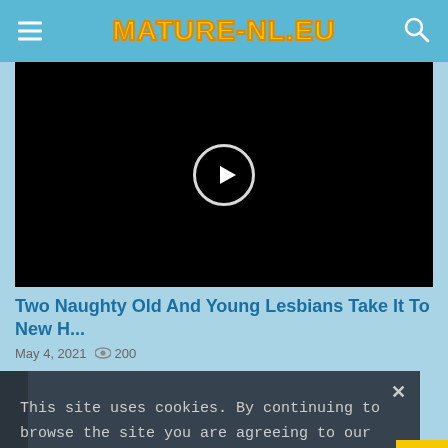MATURE-NL.EU
[Figure (screenshot): Black video player with a circular play button in the center]
Two Naughty Old And Young Lesbians Take It To New H...
May 4, 2021  200
This site uses cookies. By continuing to browse the site you are agreeing to our use of cookies.